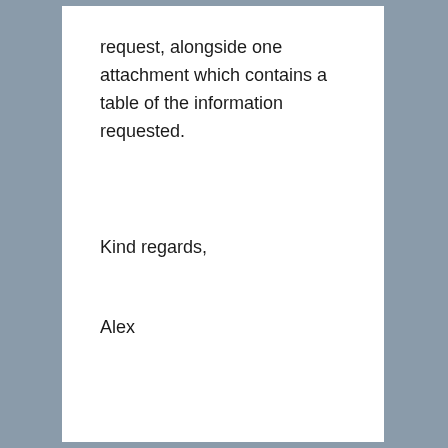request, alongside one attachment which contains a table of the information requested.
Kind regards,
Alex